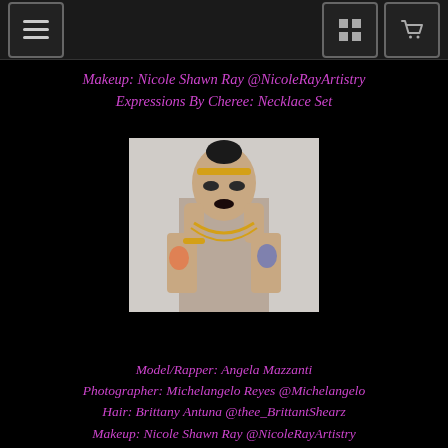Navigation header with menu, grid, and cart icons
Makeup: Nicole Shawn Ray @NicoleRayArtistry
Expressions By Cheree: Necklace Set
[Figure (photo): Portrait photo of a tattooed female model/rapper with dark makeup, gold headpiece and jewelry, hands near face, posing against light background]
Model/Rapper: Angela Mazzanti
Photographer: Michelangelo Reyes @Michelangelo
Hair: Brittany Antuna @thee_BrittantShearz
Makeup: Nicole Shawn Ray @NicoleRayArtistry